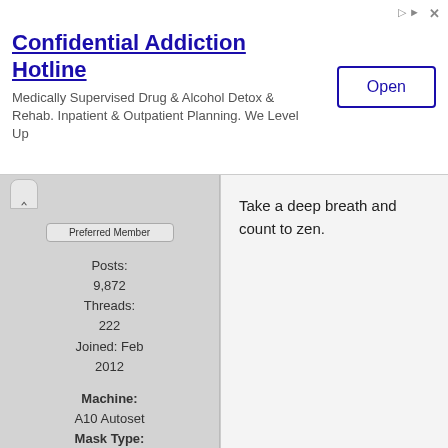[Figure (other): Advertisement banner for Confidential Addiction Hotline with Open button]
Take a deep breath and count to zen.
Posts: 9,872
Threads: 222
Joined: Feb 2012
Machine: A10 Autoset
Mask Type: Nasal pillows
Mask Make & Model: Nuance
Humidifier: built-in
CPAP Pressure: 14-17
CPAP